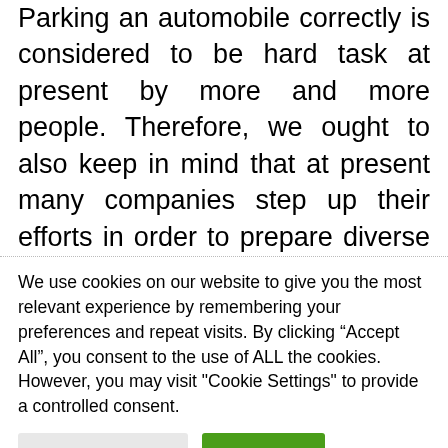Parking an automobile correctly is considered to be hard task at present by more and more people. Therefore, we ought to also keep in mind that at present many companies step up their efforts in order to prepare diverse alternatives, which aim is to make the whole process considerably less complicated to miscellaneous people. This implies that we should not forget in terms of car parking that rising percentage of companies such as BMW
We use cookies on our website to give you the most relevant experience by remembering your preferences and repeat visits. By clicking “Accept All”, you consent to the use of ALL the cookies. However, you may visit "Cookie Settings" to provide a controlled consent.